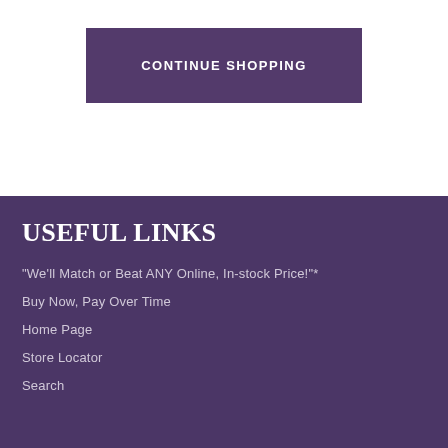CONTINUE SHOPPING
USEFUL LINKS
"We'll Match or Beat ANY Online, In-stock Price!"*
Buy Now, Pay Over Time
Home Page
Store Locator
Search